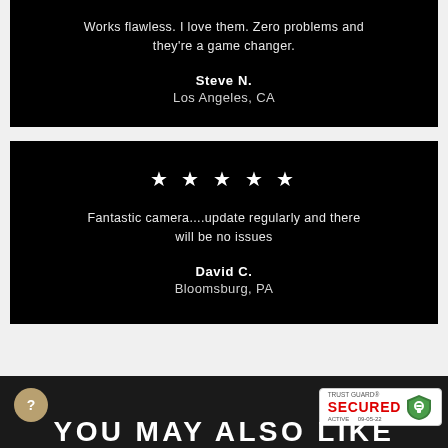Works flawless. I love them. Zero problems and they're a game changer.
Steve N.
Los Angeles, CA
[Figure (other): Five white stars rating]
Fantastic camera....update regularly and there will be no issues
David C.
Bloomsburg, PA
[Figure (logo): Trust Guard Secured Active 09-05-22 badge with shield icon]
YOU MAY ALSO LIKE